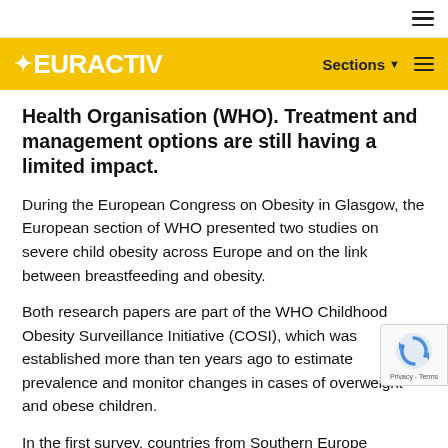EURACTIV — Sections
Health Organisation (WHO). Treatment and management options are still having a limited impact.
During the European Congress on Obesity in Glasgow, the European section of WHO presented two studies on severe child obesity across Europe and on the link between breastfeeding and obesity.
Both research papers are part of the WHO Childhood Obesity Surveillance Initiative (COSI), which was established more than ten years ago to estimate prevalence and monitor changes in cases of overweight and obese children.
In the first survey, countries from Southern Europe